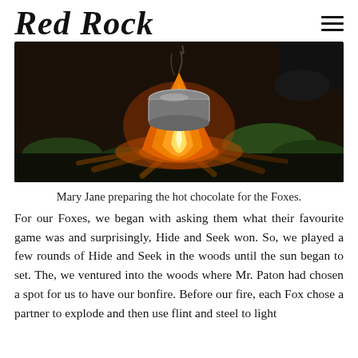Red Rock
[Figure (photo): A campfire burning at night in the woods with a metal pot/bowl resting over the flames on top of sticks. Green foliage visible around the fire on dark ground.]
Mary Jane preparing the hot chocolate for the Foxes.
For our Foxes, we began with asking them what their favourite game was and surprisingly, Hide and Seek won. So, we played a few rounds of Hide and Seek in the woods until the sun began to set. The, we ventured into the woods where Mr. Paton had chosen a spot for us to have our bonfire. Before our fire, each Fox chose a partner to explode and then use flint and steel to light